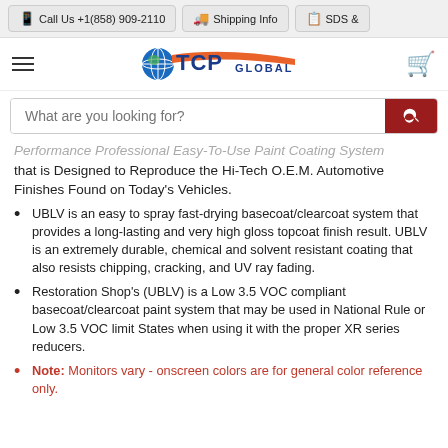Call Us +1(858) 909-2110 | Shipping Info | SDS &
[Figure (logo): TCP Global logo with globe icon, orange swoosh, and blue text]
Performance Professional Easy-To-Use Paint Coating System that is Designed to Reproduce the Hi-Tech O.E.M. Automotive Finishes Found on Today's Vehicles.
UBLV is an easy to spray fast-drying basecoat/clearcoat system that provides a long-lasting and very high gloss topcoat finish result. UBLV is an extremely durable, chemical and solvent resistant coating that also resists chipping, cracking, and UV ray fading.
Restoration Shop's (UBLV) is a Low 3.5 VOC compliant basecoat/clearcoat paint system that may be used in National Rule or Low 3.5 VOC limit States when using it with the proper XR series reducers.
Note: Monitors vary - onscreen colors are for general color reference only.